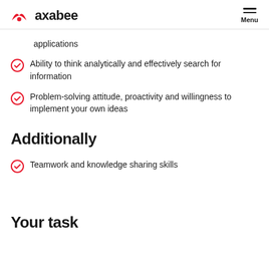axabee — Menu
applications
Ability to think analytically and effectively search for information
Problem-solving attitude, proactivity and willingness to implement your own ideas
Additionally
Teamwork and knowledge sharing skills
Your task